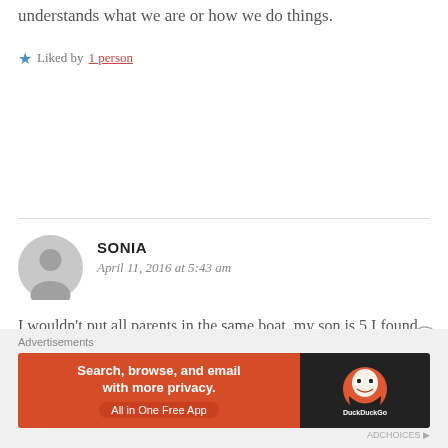understands what we are or how we do things.
★ Liked by 1 person
SONIA
April 11, 2016 at 5:43 am
I wouldn't put all parents in the same boat. my son is 5 I found out he was autistic when he was 3 1/2 I read everything I could get my hands on to understand autism. I felt my son's
[Figure (other): DuckDuckGo advertisement banner: Search, browse, and email with more privacy. All in One Free App]
Advertisements